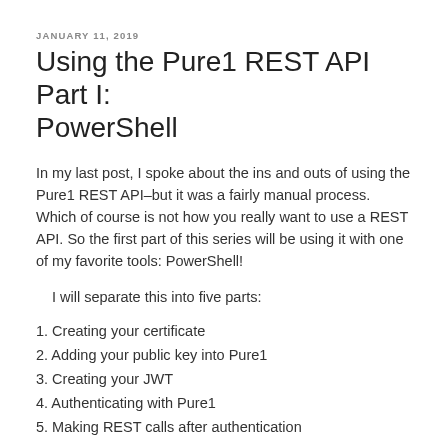JANUARY 11, 2019
Using the Pure1 REST API Part I: PowerShell
In my last post, I spoke about the ins and outs of using the Pure1 REST API–but it was a fairly manual process. Which of course is not how you really want to use a REST API. So the first part of this series will be using it with one of my favorite tools: PowerShell!
I will separate this into five parts:
1. Creating your certificate
2. Adding your public key into Pure1
3. Creating your JWT
4. Authenticating with Pure1
5. Making REST calls after authentication